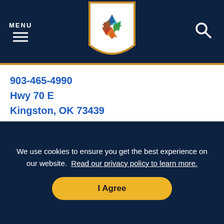MENU [hamburger icon] [logo] [search icon]
903-465-4990
Hwy 70 E
Kingston, OK 73439
Lake Texoma, an 88,000-acre water playground provides some of the best fishing in the nation. The most popular species is...
LEARN MORE >
We use cookies to ensure you get the best experience on our website. Read our privacy policy to learn more. I Agree